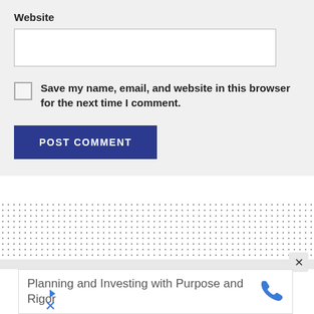Website
Save my name, email, and website in this browser for the next time I comment.
POST COMMENT
[Figure (screenshot): Dotted pattern section separator]
[Figure (screenshot): Advertisement banner: Planning and Investing with Purpose and Rigor, with phone icon, close button, and ad labels]